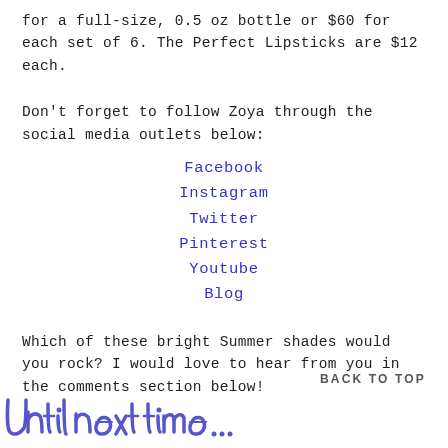for a full-size, 0.5 oz bottle or $60 for each set of 6. The Perfect Lipsticks are $12 each.
Don't forget to follow Zoya through the social media outlets below:
Facebook
Instagram
Twitter
Pinterest
Youtube
Blog
Which of these bright Summer shades would you rock? I would love to hear from you in the comments section below!
BACK TO TOP
[Figure (illustration): Handwritten cursive signature in blue/purple ink reading 'Until next time...' partially visible at the bottom of the page]